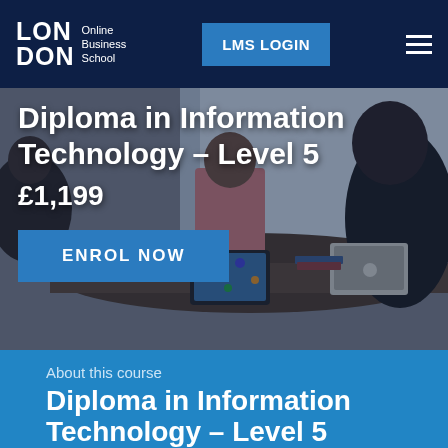LON DON Online Business School | LMS LOGIN
Diploma in Information Technology – Level 5
£1,199
ENROL NOW
About this course
Diploma in Information Technology – Level 5